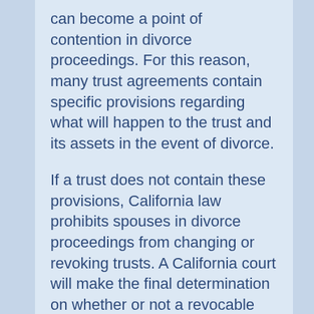can become a point of contention in divorce proceedings. For this reason, many trust agreements contain specific provisions regarding what will happen to the trust and its assets in the event of divorce.
If a trust does not contain these provisions, California law prohibits spouses in divorce proceedings from changing or revoking trusts. A California court will make the final determination on whether or not a revocable trust can be changed or revoked during divorce.
An irrevocable trust is permanent, and any asset that's placed inside of it cannot be taken out without express permission from everyone named in the trust. The settlor of